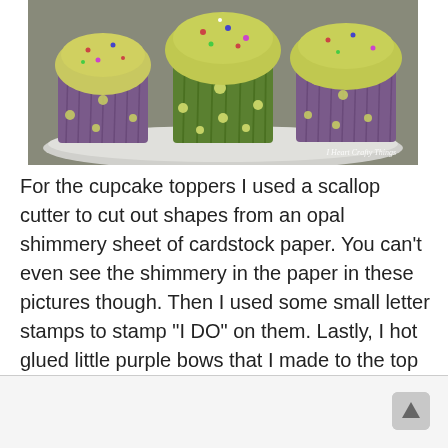[Figure (photo): Photograph of cupcakes in purple and green polka-dot wrappers on a white plate, with a watermark reading 'I Heart Crafty Things' in the lower right corner.]
For the cupcake toppers I used a scallop cutter to cut out shapes from an opal shimmery sheet of cardstock paper. You can't even see the shimmery in the paper in these pictures though. Then I used some small letter stamps to stamp "I DO" on them. Lastly, I hot glued little purple bows that I made to the top and attached them to a toothpick to insert into the cupcakes. They were simple, yet elegant looking.